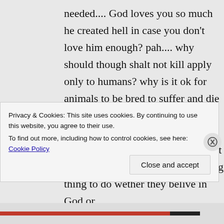needed.... God loves you so much he created hell in case you don't love him enough? pah.... why should though shalt not kill apply only to humans? why is it ok for animals to be bred to suffer and die and live a fraction of their god given lifespan? vegans feel in thier hearts souls and minds what is right and the most beautiful life affirming thing to do wether they belive in God or
Privacy & Cookies: This site uses cookies. By continuing to use this website, you agree to their use.
To find out more, including how to control cookies, see here: Cookie Policy
Close and accept